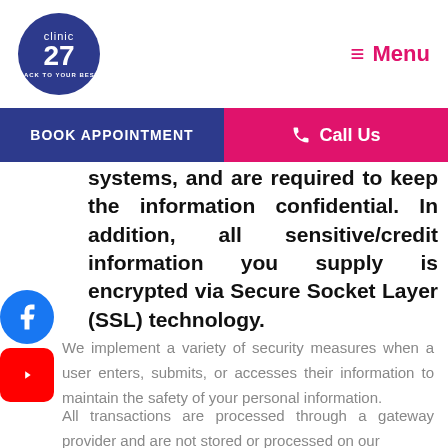[Figure (logo): Clinic 27 logo — dark blue circle with white text reading 'clinic 27 back to your best']
≡ Menu
BOOK APPOINTMENT   📞 Call Us
systems, and are required to keep the information confidential. In addition, all sensitive/credit information you supply is encrypted via Secure Socket Layer (SSL) technology.
We implement a variety of security measures when a user enters, submits, or accesses their information to maintain the safety of your personal information.
All transactions are processed through a gateway provider and are not stored or processed on our